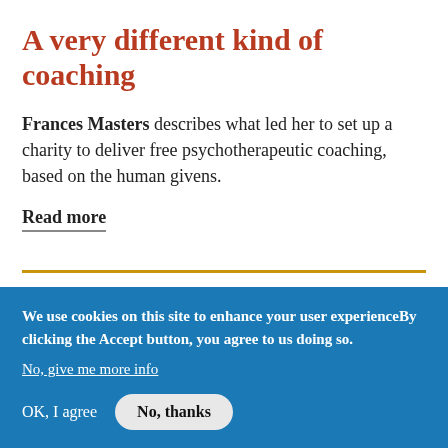A very different kind of coaching
Frances Masters describes what led her to set up a charity to deliver free psychotherapeutic coaching, based on the human givens.
Read more
We use cookies on this site to enhance your user experienceBy clicking the Accept button, you agree to us doing so.
No, give me more info
OK, I agree
No, thanks